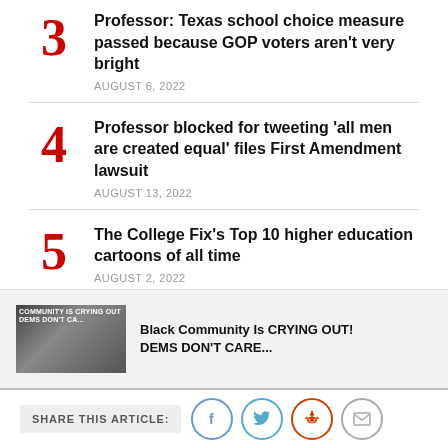3 Professor: Texas school choice measure passed because GOP voters aren't very bright
AUGUST 6, 2022
4 Professor blocked for tweeting 'all men are created equal' files First Amendment lawsuit
AUGUST 13, 2022
5 The College Fix's Top 10 higher education cartoons of all time
AUGUST 2, 2022
[Figure (other): Advertisement banner with image of person and text: Black Community Is CRYING OUT! DEMS DON'T CARE...]
SHARE THIS ARTICLE: